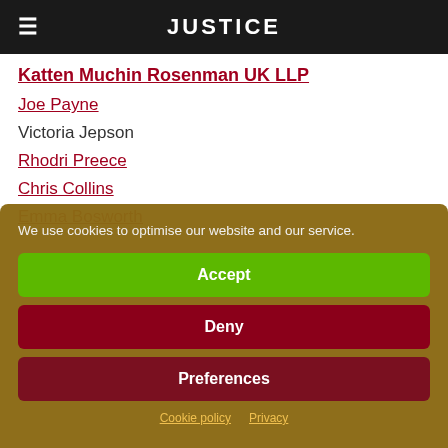JUSTICE
Katten Muchin Rosenman UK LLP
Joe Payne
Victoria Jepson
Rhodri Preece
Chris Collins
Emma Bosworth
We use cookies to optimise our website and our service.
Accept
Deny
Preferences
Cookie policy   Privacy